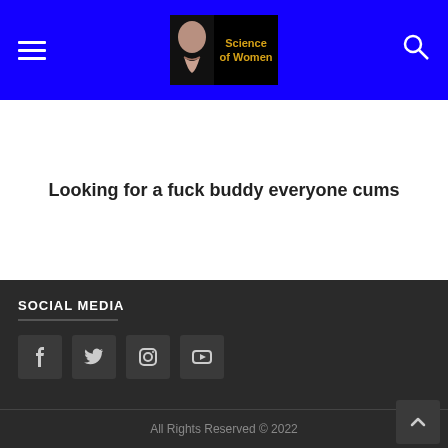Science of Women — navigation header with hamburger menu, logo, and search icon
Looking for a fuck buddy everyone cums
SOCIAL MEDIA
[Figure (other): Social media icon buttons: Facebook, Twitter, Instagram, YouTube]
All Rights Reserved © 2022